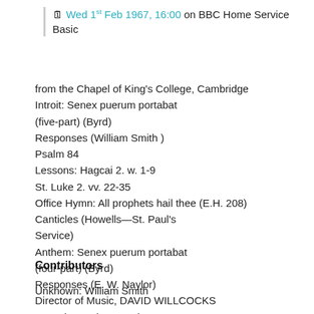Wed 1st Feb 1967, 16:00 on BBC Home Service Basic
from the Chapel of King's College, Cambridge
Introit: Senex puerum portabat
(five-part) (Byrd)
Responses (William Smith )
Psalm 84
Lessons: Hagcai 2. w. 1-9
St. Luke 2. vv. 22-35
Office Hymn: All prophets hail thee (E.H. 208)
Canticles (Howells—St. Paul's Service)
Anthem: Senex puerum portabat
(four-part) (Byrd)
Responses (E. W. Naylor)
Director of Music, DAVID WILLCOCKS
Organist, Andrew Davis
Contributors
Unknown: William Smith